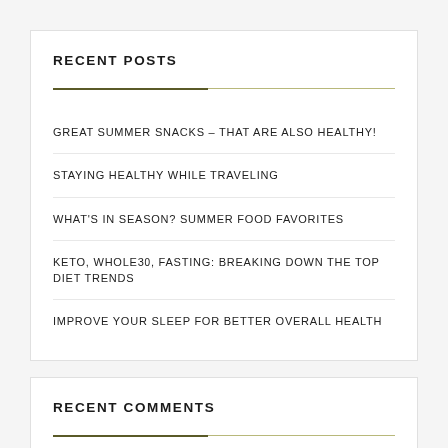RECENT POSTS
GREAT SUMMER SNACKS – THAT ARE ALSO HEALTHY!
STAYING HEALTHY WHILE TRAVELING
WHAT'S IN SEASON? SUMMER FOOD FAVORITES
KETO, WHOLE30, FASTING: BREAKING DOWN THE TOP DIET TRENDS
IMPROVE YOUR SLEEP FOR BETTER OVERALL HEALTH
RECENT COMMENTS